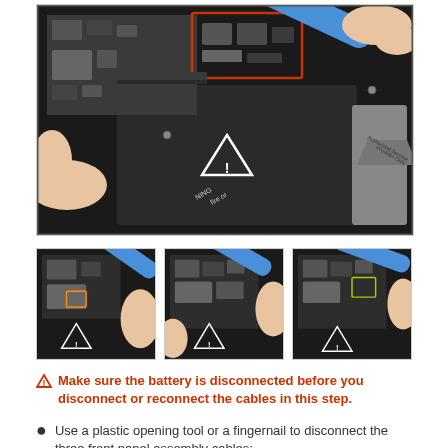[Figure (photo): Large photo of iPhone internals showing a blue plastic spudger tool being used near connectors on the logic board. A red rectangle highlights a cluster of ribbon cable connectors in the upper center of the image.]
[Figure (photo): Thumbnail 1: Close-up of the bottom-left corner of the iPhone internals with a blue plastic opening tool positioned near small connectors.]
[Figure (photo): Thumbnail 2: Close-up showing the blue plastic opening tool near cable connectors on the logic board, slightly different angle.]
[Figure (photo): Thumbnail 3: Close-up showing the connector area with a green/yellow rectangle highlight and the blue tool nearby.]
Make sure the battery is disconnected before you disconnect or reconnect the cables in this step.
Use a plastic opening tool or a fingernail to disconnect the three front panel assembly cables: